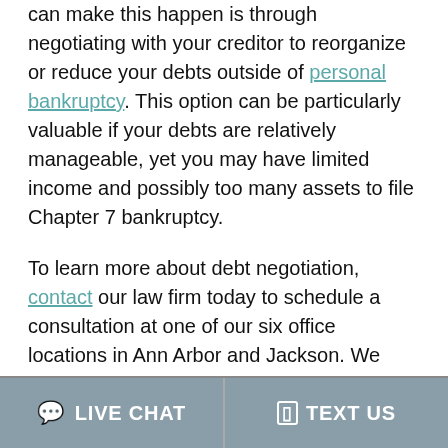can make this happen is through negotiating with your creditor to reorganize or reduce your debts outside of personal bankruptcy. This option can be particularly valuable if your debts are relatively manageable, yet you may have limited income and possibly too many assets to file Chapter 7 bankruptcy.
To learn more about debt negotiation, contact our law firm today to schedule a consultation at one of our six office locations in Ann Arbor and Jackson. We bring more than 18 years of experience to every case and we offer in-home appointments upon request.
We Can Help You Negotiate With Creditors
LIVE CHAT   TEXT US